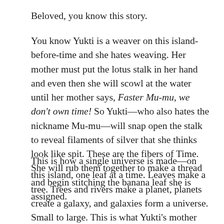Beloved, you know this story.
You know Yukti is a weaver on this island-before-time and she hates weaving. Her mother must put the lotus stalk in her hand and even then she will scowl at the water until her mother says, Faster Mu-mu, we don't own time! So Yukti—who also hates the nickname Mu-mu—will snap open the stalk to reveal filaments of silver that she thinks look like spit. These are the fibers of Time. She will rub them together to make a thread and begin stitching the banana leaf she is assigned.
This is how a single universe is made—on this island, one leaf at a time. Leaves make a tree. Trees and rivers make a planet, planets create a galaxy, and galaxies form a universe. Small to large. This is what Yukti's mother tells her as she brushes her